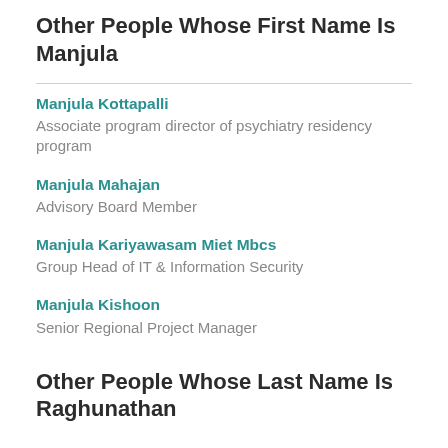Other People Whose First Name Is Manjula
Manjula Kottapalli
Associate program director of psychiatry residency program
Manjula Mahajan
Advisory Board Member
Manjula Kariyawasam Miet Mbcs
Group Head of IT & Information Security
Manjula Kishoon
Senior Regional Project Manager
Other People Whose Last Name Is Raghunathan